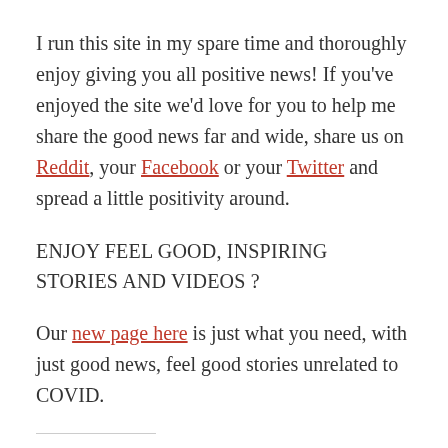I run this site in my spare time and thoroughly enjoy giving you all positive news!  If you've enjoyed the site we'd love for you to help me share the good news far and wide, share us on Reddit, your Facebook or your Twitter and spread a little positivity around.
ENJOY FEEL GOOD, INSPIRING STORIES AND VIDEOS ?
Our new page here is just what you need, with just good news, feel good stories unrelated to COVID.
By Justgivemepositivenews Team